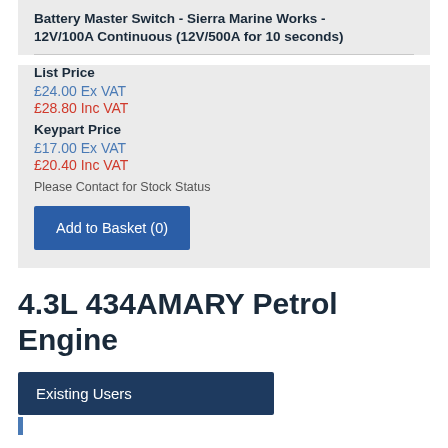Battery Master Switch - Sierra Marine Works - 12V/100A Continuous (12V/500A for 10 seconds)
List Price
£24.00 Ex VAT
£28.80 Inc VAT
Keypart Price
£17.00 Ex VAT
£20.40 Inc VAT
Please Contact for Stock Status
Add to Basket (0)
4.3L 434AMARY Petrol Engine
Existing Users